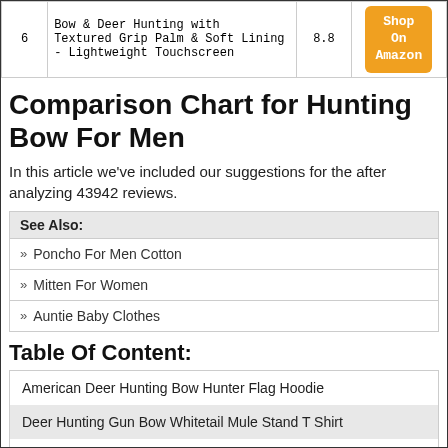| # | Description | Score | Link |
| --- | --- | --- | --- |
| 6 | Bow & Deer Hunting with Textured Grip Palm & Soft Lining - Lightweight Touchscreen | 8.8 | Shop On Amazon |
Comparison Chart for Hunting Bow For Men
In this article we've included our suggestions for the after analyzing 43942 reviews.
See Also:
Poncho For Men Cotton
Mitten For Women
Auntie Baby Clothes
Table Of Content:
American Deer Hunting Bow Hunter Flag Hoodie
Deer Hunting Gun Bow Whitetail Mule Stand T Shirt
American Deer Hunting Bow Hunter Flag Accessories